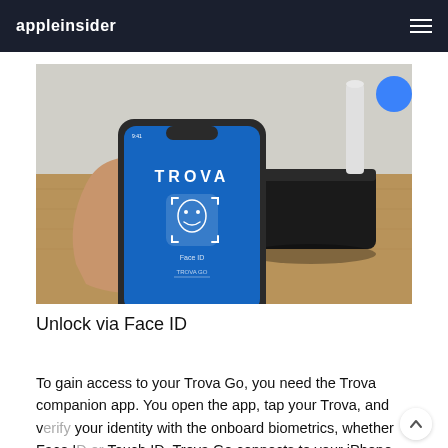appleinsider
[Figure (photo): A hand holding an iPhone displaying the TROVA app with Face ID biometric unlock screen in blue, next to a black TROVA Go device on a wooden table.]
Unlock via Face ID
To gain access to your Trova Go, you need the Trova companion app. You open the app, tap your Trova, and verify your identity with the onboard biometrics, whether Face ID or Touch ID. Trova Go connects to your iPhone via Bluetooth, so